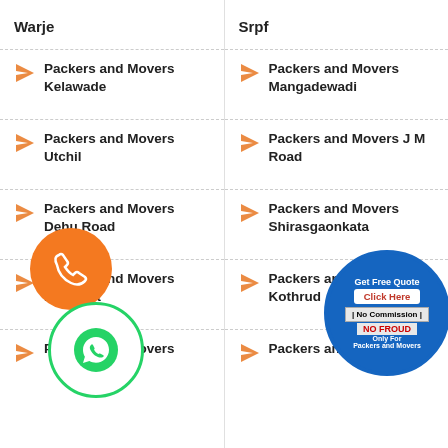Warje
Srpf
Packers and Movers Kelawade
Packers and Movers Mangadewadi
Packers and Movers Utchil
Packers and Movers J M Road
Packers and Movers Dehu Road
Packers and Movers Shirasgaonkata
Packers and Movers Kamshet
Packers and Movers Kothrud
Packers and Movers
Packers and Movers
[Figure (illustration): Orange phone icon circle button]
[Figure (illustration): WhatsApp green circle icon button]
[Figure (illustration): Circular stamp badge: Get Free Quote, Click Here, No Commission, NO FROUD, Only For Packers and Movers]